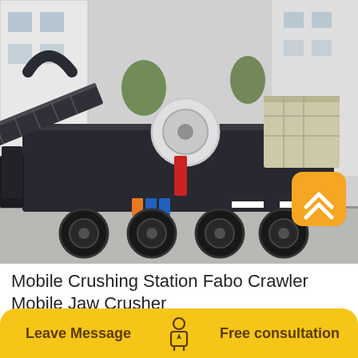[Figure (photo): Mobile crushing station — a large Fabo crawler mobile jaw crusher mounted on a wheeled trailer, photographed outdoors in an industrial yard. The machine has a dark grey/black body, a conveyor belt arm on the left, a white circular flywheel in the centre, and a pale yellow/cream side structure on the right. An orange rounded-square scroll-to-top button is overlaid on the lower-right of the image.]
Mobile Crushing Station Fabo Crawler Mobile Jaw Crusher
Leave Message
Free consultation